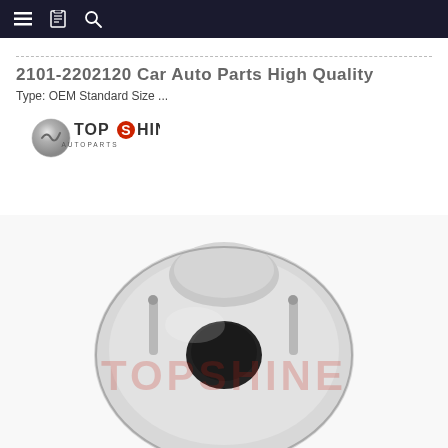Navigation bar with menu, bookmark, and search icons
2101-2202120 Car Auto Parts High Quality
Type: OEM Standard Size ...
[Figure (logo): TopShine Autoparts logo with circular chrome emblem and red/black text]
[Figure (photo): Close-up photo of a car auto part (wheel hub/strut mount) with metallic silver surface, central hole and bolts, with 'TOPSHINE' watermark overlay in red]